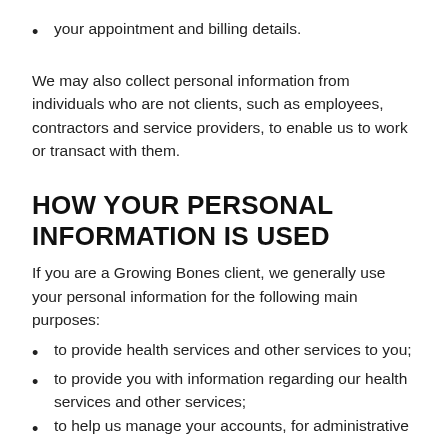your appointment and billing details.
We may also collect personal information from individuals who are not clients, such as employees, contractors and service providers, to enable us to work or transact with them.
HOW YOUR PERSONAL INFORMATION IS USED
If you are a Growing Bones client, we generally use your personal information for the following main purposes:
to provide health services and other services to you;
to provide you with information regarding our health services and other services;
to help us manage your accounts, for administrative